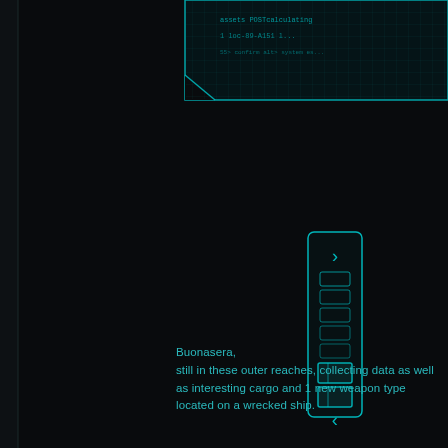[Figure (screenshot): Sci-fi game UI screenshot with dark background. Top portion shows a cyan/teal holographic display panel with glowing borders containing partially visible text. Center-right shows a vertical scroll bar UI element with cyan teal styling, up/down chevron arrows and square indicators. Bottom portion contains cyan-colored message text reading: 'Buonasera, still in these outer reaches, collecting data as well as interesting cargo and 1 new weapon type located on a wrecked ship.']
Buonasera,
still in these outer reaches, collecting data as well as interesting cargo and 1 new weapon type located on a wrecked ship.